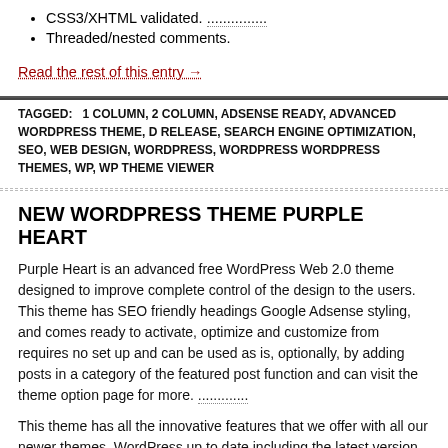CSS3/XHTML validated.
Threaded/nested comments.
Read the rest of this entry →
TAGGED: 1 COLUMN, 2 COLUMN, ADSENSE READY, ADVANCED WORDPRESS THEME, D RELEASE, SEARCH ENGINE OPTIMIZATION, SEO, WEB DESIGN, WORDPRESS, WORDPRESS WORDPRESS THEMES, WP, WP THEME VIEWER
NEW WORDPRESS THEME PURPLE HEART
Purple Heart is an advanced free WordPress Web 2.0 theme designed to improve complete control of the design to the users. This theme has SEO friendly headings Google Adsense styling, and comes ready to activate, optimize and customize from requires no set up and can be used as is, optionally, by adding posts in a category of the featured post function and can visit the theme option page for more.
This theme has all the innovative features that we offer with all our newer themes. WordPress up to date including the latest version 2.6.3
The theme offers among other things the following features:
Google Adsense styled - allows the easy addition of your Google Adser